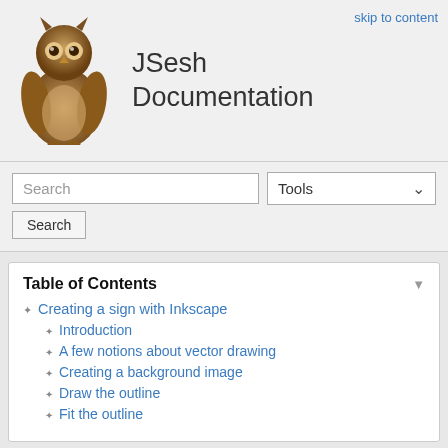[Figure (illustration): Owl figurine/sculpture, brown colored, sitting upright]
JSesh Documentation
skip to content
Search | Tools
Table of Contents
Creating a sign with Inkscape
Introduction
A few notions about vector drawing
Creating a background image
Draw the outline
Fit the outline